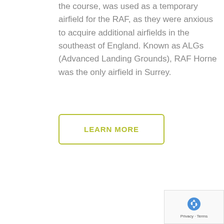the course, was used as a temporary airfield for the RAF, as they were anxious to acquire additional airfields in the southeast of England. Known as ALGs (Advanced Landing Grounds), RAF Horne was the only airfield in Surrey.
LEARN MORE
[Figure (other): reCAPTCHA badge with recycling arrow icon and Privacy - Terms links]